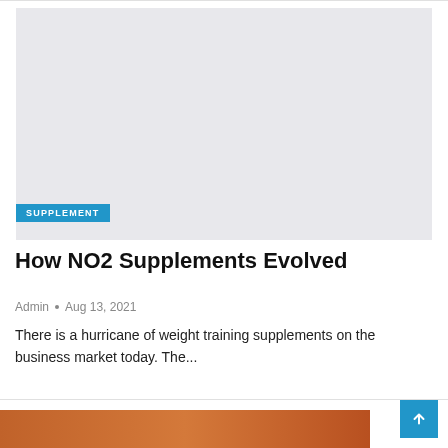[Figure (photo): Light gray placeholder image rectangle for an article about NO2 supplements]
SUPPLEMENT
How NO2 Supplements Evolved
Admin • Aug 13, 2021
There is a hurricane of weight training supplements on the business market today. The...
[Figure (photo): Partial bottom image with warm orange/red tones, partially visible at bottom of page]